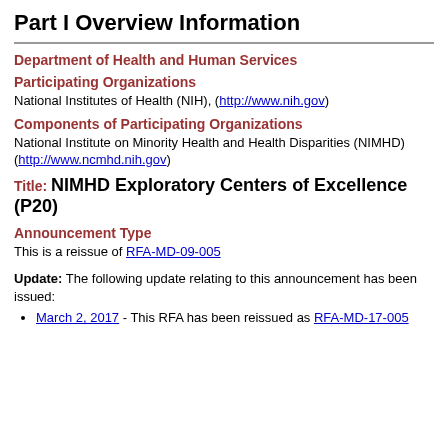Part I Overview Information
Department of Health and Human Services
Participating Organizations
National Institutes of Health (NIH), (http://www.nih.gov)
Components of Participating Organizations
National Institute on Minority Health and Health Disparities (NIMHD) (http://www.ncmhd.nih.gov)
Title: NIMHD Exploratory Centers of Excellence (P20)
Announcement Type
This is a reissue of RFA-MD-09-005
Update: The following update relating to this announcement has been issued:
March 2, 2017 - This RFA has been reissued as RFA-MD-17-005